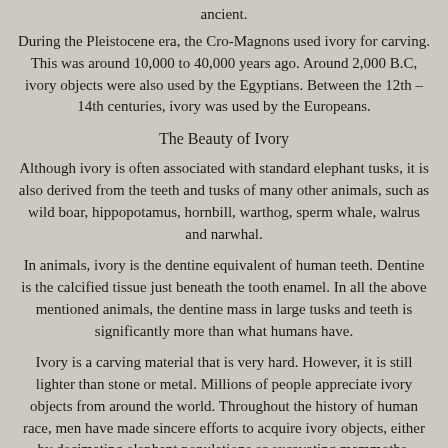ancient.
During the Pleistocene era, the Cro-Magnons used ivory for carving. This was around 10,000 to 40,000 years ago. Around 2,000 B.C, ivory objects were also used by the Egyptians. Between the 12th – 14th centuries, ivory was used by the Europeans.
The Beauty of Ivory
Although ivory is often associated with standard elephant tusks, it is also derived from the teeth and tusks of many other animals, such as wild boar, hippopotamus, hornbill, warthog, sperm whale, walrus and narwhal.
In animals, ivory is the dentine equivalent of human teeth. Dentine is the calcified tissue just beneath the tooth enamel. In all the above mentioned animals, the dentine mass in large tusks and teeth is significantly more than what humans have.
Ivory is a carving material that is very hard. However, it is still lighter than stone or metal. Millions of people appreciate ivory objects from around the world. Throughout the history of human race, men have made sincere efforts to acquire ivory objects, either by decimating elephant populations or excavating mammoths.
In most cases, ivory is traded as religious or decorative objects,